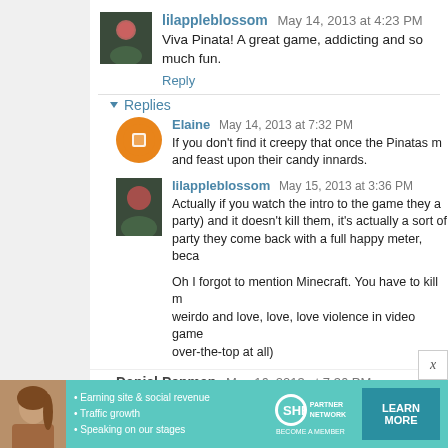lilappleblossom May 14, 2013 at 4:23 PM
Viva Pinata! A great game, addicting and so much fun.
Reply
▾ Replies
Elaine May 14, 2013 at 7:32 PM
If you don't find it creepy that once the Pinatas m... and feast upon their candy innards.
lilappleblossom May 15, 2013 at 3:36 PM
Actually if you watch the intro to the game they a... party) and it doesn't kill them, it's actually a sort of ... party they come back with a full happy meter, beca...
Oh I forgot to mention Minecraft. You have to kill m... weirdo and love, love, love violence in video game... over-the-top at all)
Daniel Penman May 16, 2013 at 7:36 PM
[Figure (screenshot): SHE Partner Network advertisement banner with text: Earning site & social revenue, Traffic growth, Speaking on our stages, SHE PARTNER NETWORK BECOME A MEMBER, LEARN MORE button]